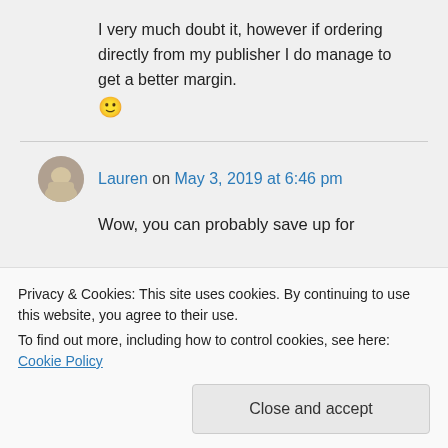I very much doubt it, however if ordering directly from my publisher I do manage to get a better margin. 🙂
Lauren on May 3, 2019 at 6:46 pm
Wow, you can probably save up for
Privacy & Cookies: This site uses cookies. By continuing to use this website, you agree to their use.
To find out more, including how to control cookies, see here: Cookie Policy
Close and accept